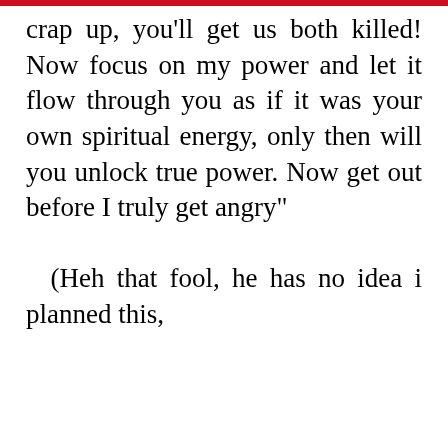crap up, you'll get us both killed! Now focus on my power and let it flow through you as if it was your own spiritual energy, only then will you unlock true power. Now get out before I truly get angry"
  (Heh that fool, he has no idea i planned this,
i was s still ritual ct his emon g his spiritual energy.
Wir verwenden Cookies, um Dir den bestmöglichen Service auf unserer Website zu bieten. Zudem zeigen wir Dir nur Inhalte und Anzeigen, die deinen Interessen entsprechen.  Learn more
Ich stimme zu